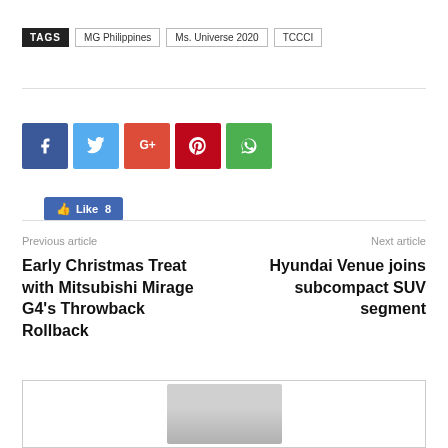TAGS  MG Philippines  Ms. Universe 2020  TCCCI
[Figure (other): Social share buttons: Like 8 (Facebook like), Facebook, Twitter, Google+, Pinterest, WhatsApp icons]
Previous article
Early Christmas Treat with Mitsubishi Mirage G4's Throwback Rollback
Next article
Hyundai Venue joins subcompact SUV segment
[Figure (photo): Partially visible card/profile box with a person's photo thumbnail in the center]